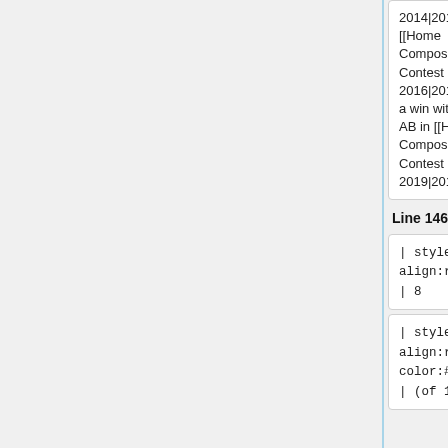2014|2014]] and [[Home Composed Song Contest 2016|2016]] plus a win with his duo AB in [[Home Composed Song Contest 2019|2019]].
2014|2014]] and [[Home Composed Song Contest 2016|2016]] plus a win with his duo AB in [[Home Composed Song Contest 2019|2019]].
Line 146:
Line 146:
| style="text-align:right;" | 8
| style="text-align:right;" | 8
| style="text-align:right; color:#808080" | (of 17)
| style="text-align:right; color:#808080" | (of 17)
|- style="backgro